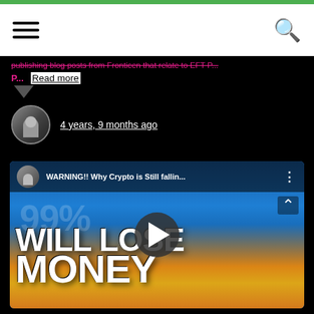[Hamburger menu] [Search icon]
publishing blog posts from Fronticen that relate to EFT P...
P... Read more
4 years, 9 months ago
[Figure (screenshot): YouTube video thumbnail showing a man with beard and blue eyes against a blue background with flames. Text overlay reads: 99% WILL LOSE MONEY. Video title: WARNING!! Why Crypto is Still fallin...]